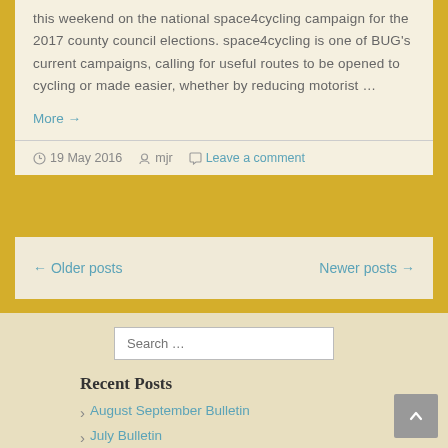this weekend on the national space4cycling campaign for the 2017 county council elections. space4cycling is one of BUG's current campaigns, calling for useful routes to be opened to cycling or made easier, whether by reducing motorist …
More →
19 May 2016  mjr  Leave a comment
← Older posts    Newer posts →
Search …
Recent Posts
August September Bulletin
July Bulletin
Jubilee ride cancellation.
Jubilee Ride amendment
29 May Ride London Free Cycle (train